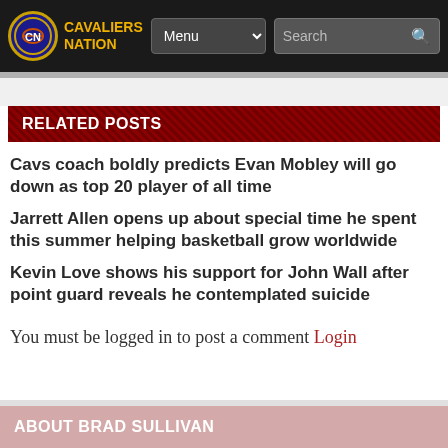CAVALIERS NATION
RELATED POSTS
Cavs coach boldly predicts Evan Mobley will go down as top 20 player of all time
Jarrett Allen opens up about special time he spent this summer helping basketball grow worldwide
Kevin Love shows his support for John Wall after point guard reveals he contemplated suicide
You must be logged in to post a comment Login
ABOUT BRAD SULLIVAN